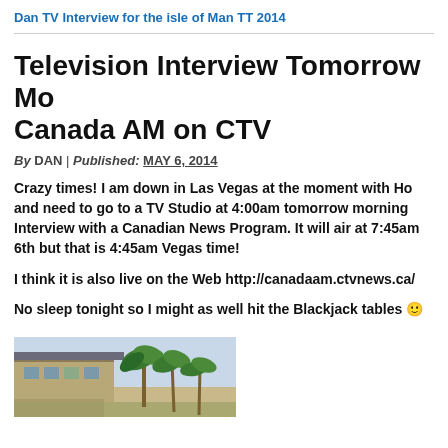Dan TV Interview for the isle of Man TT 2014
Television Interview Tomorrow Morning Canada AM on CTV
By DAN | Published: MAY 6, 2014
Crazy times! I am down in Las Vegas at the moment with Ho and need to go to a TV Studio at 4:00am tomorrow morning Interview with a Canadian News Program. It will air at 7:45am 6th but that is 4:45am Vegas time!
I think it is also live on the Web http://canadaam.ctvnews.ca/
No sleep tonight so I might as well hit the Blackjack tables 🙂
[Figure (photo): Outdoor photo showing palm trees and a building exterior, likely in Las Vegas]